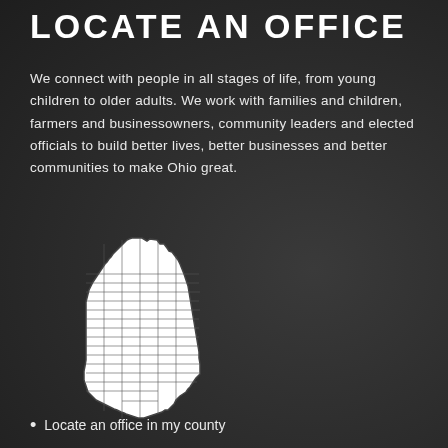LOCATE AN OFFICE
We connect with people in all stages of life, from young children to older adults. We work with families and children, farmers and businessowners, community leaders and elected officials to build better lives, better businesses and better communities to make Ohio great.
[Figure (map): Outline map of Ohio divided into counties, shown in white with dark borders on a dark background.]
Locate an office in my county